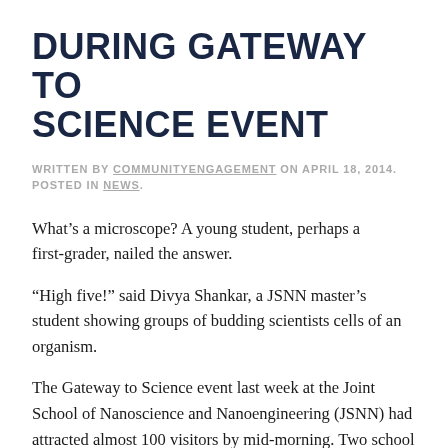DURING GATEWAY TO SCIENCE EVENT
WRITTEN BY COMMUNITYENGAGEMENT ON APRIL 18, 2014. POSTED IN NEWS.
What’s a microscope? A young student, perhaps a first-grader, nailed the answer.
“High five!” said Divya Shankar, a JSNN master’s student showing groups of budding scientists cells of an organism.
The Gateway to Science event last week at the Joint School of Nanoscience and Nanoengineering (JSNN) had attracted almost 100 visitors by mid-morning. Two school groups, home school groups and a church group were among the early visitors. The open house